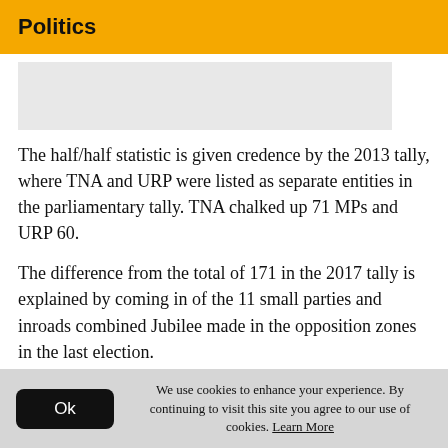Politics
[Figure (other): Partially visible image placeholder (gray rectangle)]
The half/half statistic is given credence by the 2013 tally, where TNA and URP were listed as separate entities in the parliamentary tally. TNA chalked up 71 MPs and URP 60.
The difference from the total of 171 in the 2017 tally is explained by coming in of the 11 small parties and inroads combined Jubilee made in the opposition zones in the last election.
*** ***
We use cookies to enhance your experience. By continuing to visit this site you agree to our use of cookies. Learn More